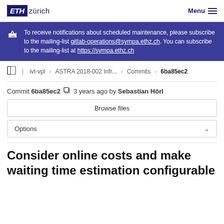ETH zürich  Menu
To receive notifications about scheduled maintenance, please subscribe to the mailing-list gitlab-operations@sympa.ethz.ch. You can subscribe to the mailing-list at https://sympa.ethz.ch
ivt-vpl › ASTRA 2018-002 Infr... › Commits › 6ba85ec2
Commit 6ba85ec2  3 years ago by Sebastian Hörl
Browse files
Options
Consider online costs and make waiting time estimation configurable